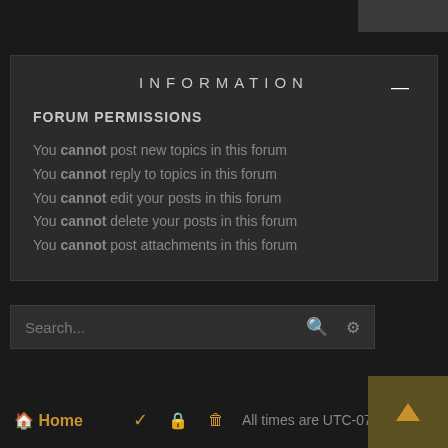INFORMATION
FORUM PERMISSIONS
You cannot post new topics in this forum
You cannot reply to topics in this forum
You cannot edit your posts in this forum
You cannot delete your posts in this forum
You cannot post attachments in this forum
Search...
Home  ✓  🔒  🗑  All times are UTC-07:00